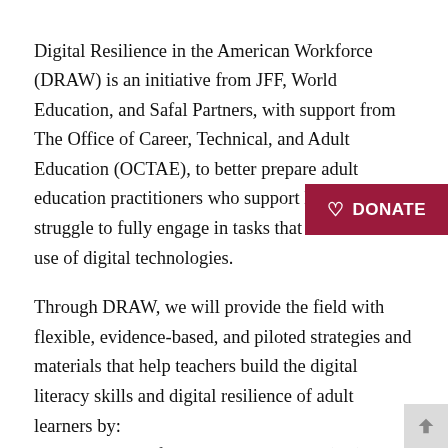Digital Resilience in the American Workforce (DRAW) is an initiative from JFF, World Education, and Safal Partners, with support from The Office of Career, Technical, and Adult Education (OCTAE), to better prepare adult education practitioners who support learners that struggle to fully engage in tasks that demand the use of digital technologies.
Through DRAW, we will provide the field with flexible, evidence-based, and piloted strategies and materials that help teachers build the digital literacy skills and digital resilience of adult learners by: – supporting professional development (PD) that enables teachers to be strategic and learner-focused in their lesson planning and instruction;